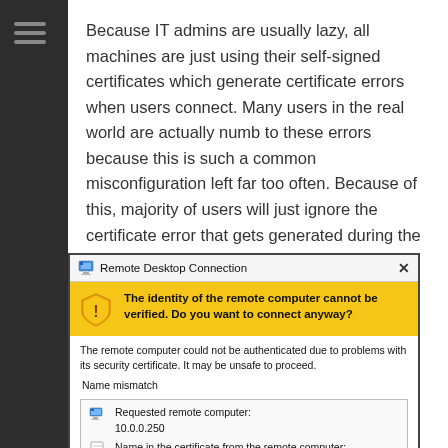Because IT admins are usually lazy, all machines are just using their self-signed certificates which generate certificate errors when users connect. Many users in the real world are actually numb to these errors because this is such a common misconfiguration left far too often. Because of this, majority of users will just ignore the certificate error that gets generated during the Man in The Middle attack.
[Figure (screenshot): Windows Remote Desktop Connection dialog box warning that the identity of the remote computer cannot be verified, with a yellow warning banner, name mismatch details showing requested remote computer 10.0.0.250, and a partially visible row for the name in the certificate from the remote computer.]